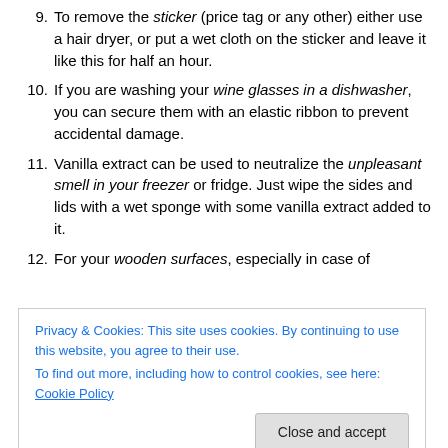9. To remove the sticker (price tag or any other) either use a hair dryer, or put a wet cloth on the sticker and leave it like this for half an hour.
10. If you are washing your wine glasses in a dishwasher, you can secure them with an elastic ribbon to prevent accidental damage.
11. Vanilla extract can be used to neutralize the unpleasant smell in your freezer or fridge. Just wipe the sides and lids with a wet sponge with some vanilla extract added to it.
12. For your wooden surfaces, especially in case of
Privacy & Cookies: This site uses cookies. By continuing to use this website, you agree to their use. To find out more, including how to control cookies, see here: Cookie Policy
Close and accept